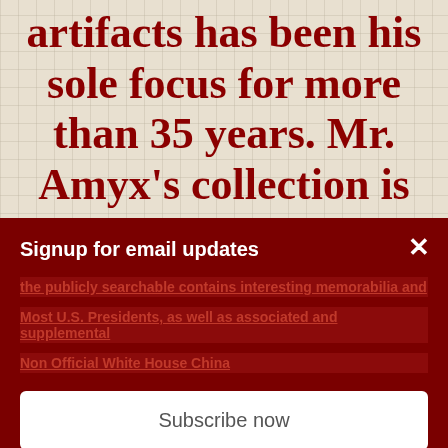artifacts has been his sole focus for more than 35 years. Mr. Amyx's collection is the largest privately-owned collection of extremely
Signup for email updates
the publicly searchable contains interesting memorabilia and
Most U.S. Presidents, as well as associated and supplemental
Non Official White House China
Subscribe now